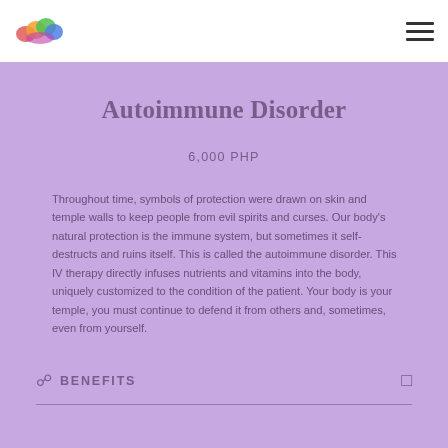Autoimmune Disorder
6,000 PHP
Throughout time, symbols of protection were drawn on skin and temple walls to keep people from evil spirits and curses. Our body's natural protection is the immune system, but sometimes it self-destructs and ruins itself. This is called the autoimmune disorder. This IV therapy directly infuses nutrients and vitamins into the body, uniquely customized to the condition of the patient. Your body is your temple, you must continue to defend it from others and, sometimes, even from yourself.
BENEFITS